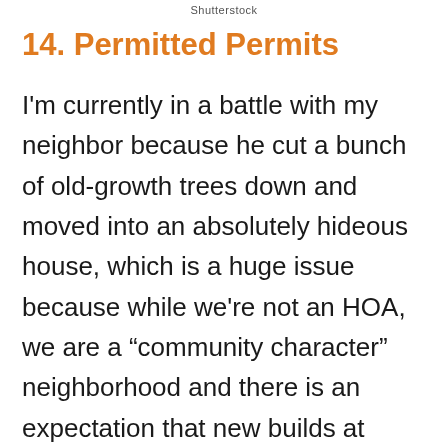Shutterstock
14. Permitted Permits
I'm currently in a battle with my neighbor because he cut a bunch of old-growth trees down and moved into an absolutely hideous house, which is a huge issue because while we're not an HOA, we are a “community character” neighborhood and there is an expectation that new builds at least attempt to look like existing homes in the neighborhood.